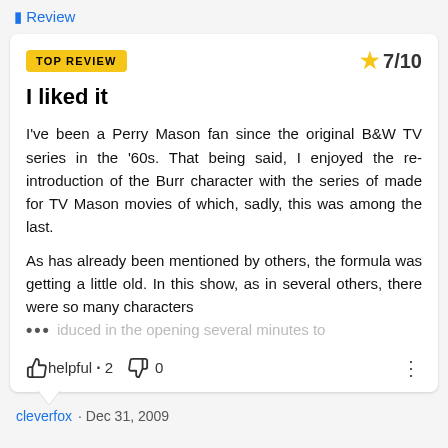Review
TOP REVIEW
7/10
I liked it
I've been a Perry Mason fan since the original B&W TV series in the '60s. That being said, I enjoyed the re-introduction of the Burr character with the series of made for TV Mason movies of which, sadly, this was among the last.
As has already been mentioned by others, the formula was getting a little old. In this show, as in several others, there were so many characters
… iduced in the opening several minutes to
helpful · 2   0
cleverfox · Dec 31, 2009